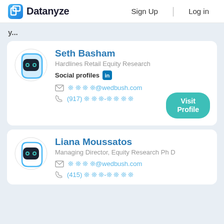Datanyze  Sign Up  Log in
y...
Seth Basham
Hardlines Retail Equity Research
Social profiles  in
****@wedbush.com
(917) ***-****
Visit Profile
Liana Moussatos
Managing Director, Equity Research Ph D
****@wedbush.com
(415) ***-****